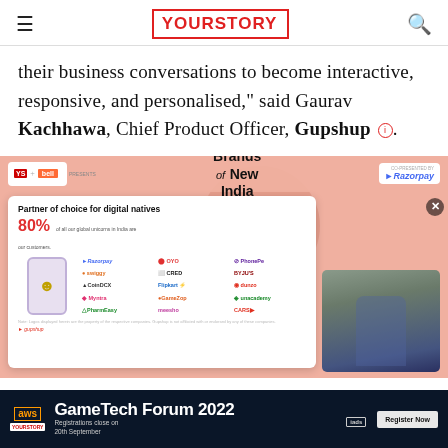YourStory
their business conversations to become interactive, responsive, and personalised," said Gaurav Kachhawa, Chief Product Officer, Gupshup.
[Figure (screenshot): A presentation slide showing Gupshup as 'Partner of choice for digital natives' with 80% of all global unicorns in India as customers, featuring brand logos including Razorpay, OYO, PhonePe, Swiggy, CRED, BYJU'S, CoinDCX, Flipkart, Myntra, Unacademy, PharmEasy, Meesho, CARS24. Brands of New India header with YourStory and Bell presenter logos, co-presented by Razorpay. A video thumbnail of a speaker is visible.]
[Figure (screenshot): Advertisement banner for AWS YourStory GameTech Forum 2022. Registrations close on 20th September. Register Now button.]